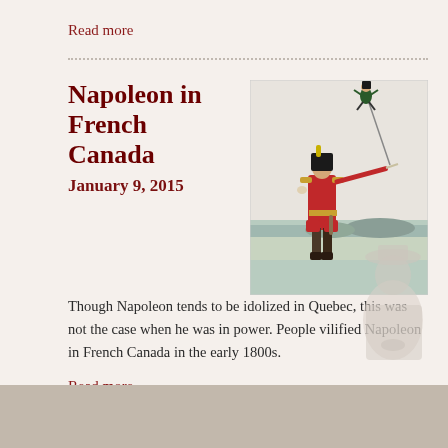Read more
Napoleon in French Canada
January 9, 2015
[Figure (illustration): Historical illustration of a British soldier in red coat pointing a sword/stick at a small figure of Napoleon being flung into the air on a string]
Though Napoleon tends to be idolized in Quebec, this was not the case when he was in power. People vilified Napoleon in French Canada in the early 1800s.
Read more
[Figure (illustration): Faint silhouette of Napoleon in profile on the lower right of the page, with a gray band at the bottom]